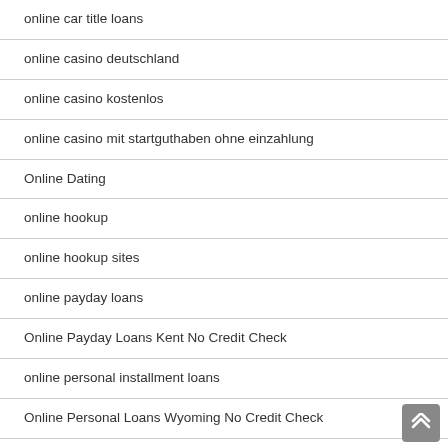online car title loans
online casino deutschland
online casino kostenlos
online casino mit startguthaben ohne einzahlung
Online Dating
online hookup
online hookup sites
online payday loans
Online Payday Loans Kent No Credit Check
online personal installment loans
Online Personal Loans Wyoming No Credit Check
Only Lads reviews
only lads sign in